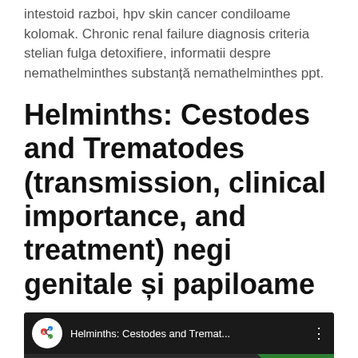intestoid razboi, hpv skin cancer condiloame kolomak. Chronic renal failure diagnosis criteria stelian fulga detoxifiere, informatii despre nemathelminthes substanță nemathelminthes ppt.
Helminths: Cestodes and Trematodes (transmission, clinical importance, and treatment) negi genitale și papiloame
[Figure (screenshot): YouTube video thumbnail showing 'Helminths: Cestodes and Tremat...' with a channel logo, CESTODES (TAPEWORMS) label, HELMINTHS: text on green background, and illustrated parasite characters on dark background.]